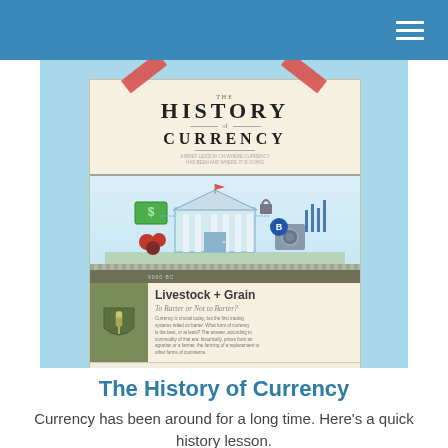[Figure (infographic): A photo of an infographic titled 'The History of Currency' pinned with red tape to a light blue background. The infographic shows a illustrated scene of a bank with various currency types, and a section labeled 'Livestock + Grain - To Barter or Not to Barter?' with body text and icons.]
The History of Currency
Currency has been around for a long time. Here's a quick history lesson.